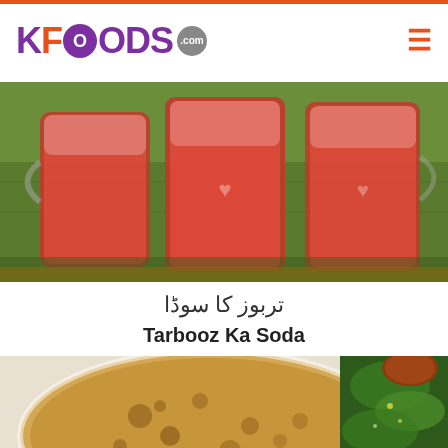KFOODS.com
[Figure (photo): Red watermelon soda drink in glass mugs on green cloth background]
تربوز کا سوڈا
Tarbooz Ka Soda
[Figure (photo): Roti/paratha flatbread on white plate with green vegetables and kebab]